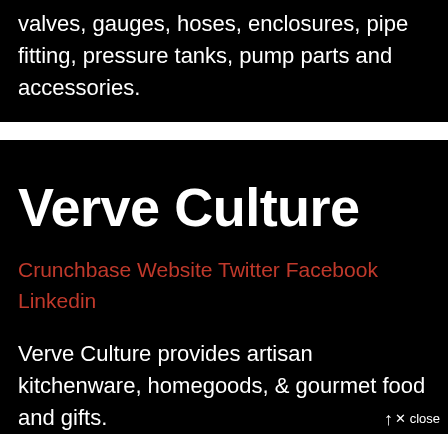valves, gauges, hoses, enclosures, pipe fitting, pressure tanks, pump parts and accessories.
Verve Culture
Crunchbase Website Twitter Facebook Linkedin
Verve Culture provides artisan kitchenware, homegoods, & gourmet food and gifts.